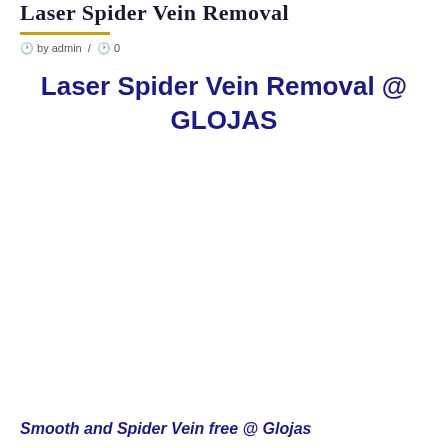Laser Spider Vein Removal
🕐 by admin / 🕐 0
Laser Spider Vein Removal @ GLOJAS
Smooth and Spider Vein free @ Glojas